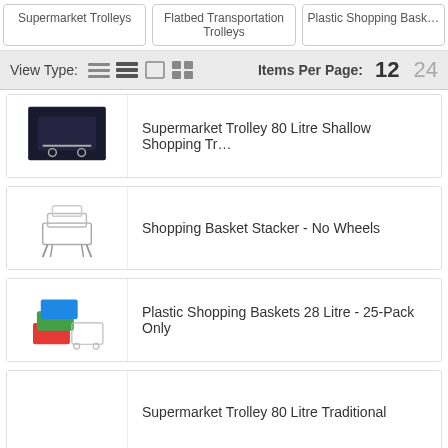Supermarket Trolleys
Flatbed Transportation Trolleys
Plastic Shopping Baskets
View Type:    Items Per Page: 12  24
Supermarket Trolley 80 Litre Shallow Shopping Trolley
Shopping Basket Stacker - No Wheels
Plastic Shopping Baskets 28 Litre - 25-Pack Only
Supermarket Trolley 80 Litre Traditional
Wire Shopping Baskets 10-Pack - Green Handle